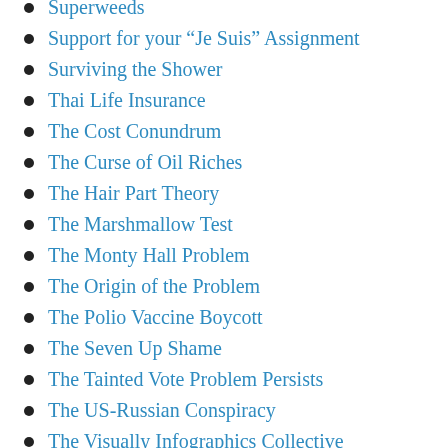Superweeds
Support for your “Je Suis” Assignment
Surviving the Shower
Thai Life Insurance
The Cost Conundrum
The Curse of Oil Riches
The Hair Part Theory
The Marshmallow Test
The Monty Hall Problem
The Origin of the Problem
The Polio Vaccine Boycott
The Seven Up Shame
The Tainted Vote Problem Persists
The US-Russian Conspiracy
The Visually Infographics Collective
Theme Showcase
Thought Becomes Action